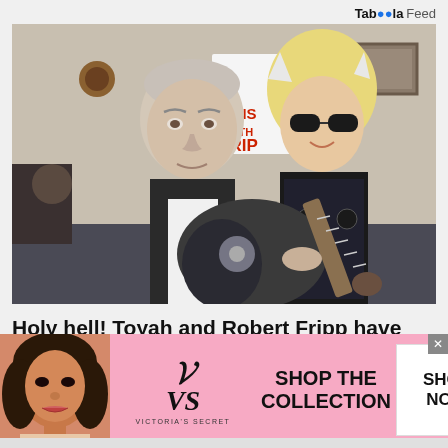Taboola Feed
[Figure (photo): Two people in a room: an older man with grey hair wearing a black vest and white shirt holding an electric guitar, and a woman behind him wearing a blonde wig, cat ears, sunglasses, and a sheer black outfit. A sign in the background reads '5 MINS WITH FRIP'.]
Holy hell! Toyah and Robert Fripp have only gone and covered Pantera
If we'd been asked to predict which songs Robert Fripp
[Figure (advertisement): Victoria's Secret advertisement with pink background, woman model on left, VS logo and brand name in center, 'SHOP THE COLLECTION' text, and 'SHOP NOW' button on right.]